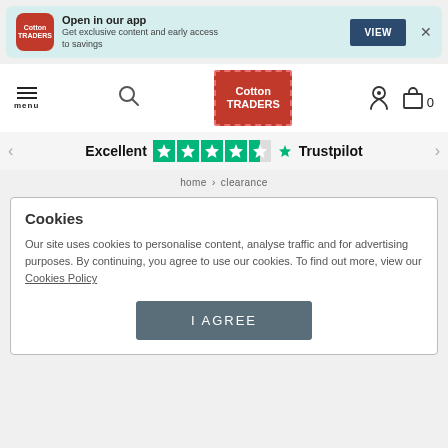[Figure (screenshot): Cotton Traders app banner with logo, text 'Open in our app', VIEW button, and close X]
[Figure (screenshot): Cotton Traders website navigation bar with hamburger menu, search icon, Cotton Traders logo, location pin, and shopping bag with 0 items]
[Figure (screenshot): Trustpilot rating bar showing Excellent rating with 4.5 stars and Trustpilot logo]
home › clearance
Cookies
Our site uses cookies to personalise content, analyse traffic and for advertising purposes. By continuing, you agree to use our cookies. To find out more, view our Cookies Policy
I AGREE